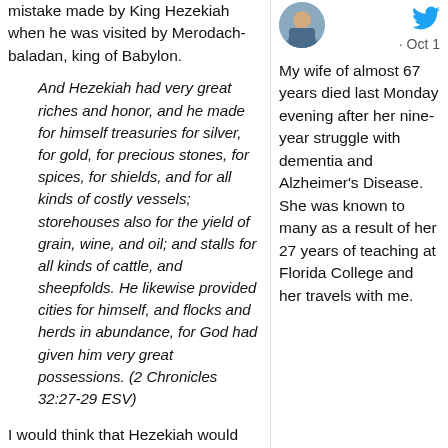mistake made by King Hezekiah when he was visited by Merodach-baladan, king of Babylon.
And Hezekiah had very great riches and honor, and he made for himself treasuries for silver, for gold, for precious stones, for spices, for shields, and for all kinds of costly vessels; storehouses also for the yield of grain, wine, and oil; and stalls for all kinds of cattle, and sheepfolds. He likewise provided cities for himself, and flocks and herds in abundance, for God had given him very great possessions. (2 Chronicles 32:27-29 ESV)
I would think that Hezekiah would have shown the Babylonian monarch his gold and silver
[Figure (photo): Profile photo of a man outdoors]
· Oct 1
My wife of almost 67 years died last Monday evening after her nine-year struggle with dementia and Alzheimer's Disease. She was known to many as a result of her 27 years of teaching at Florida College and her travels with me.